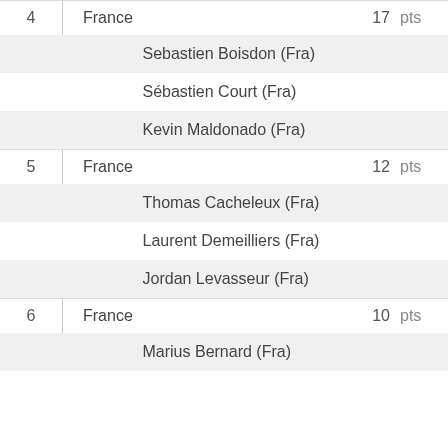| Rank | Country/Athlete | Points |  |
| --- | --- | --- | --- |
| 4 | France | 17 | pts |
|  | Sebastien Boisdon (Fra) |  |  |
|  | Sébastien Court (Fra) |  |  |
|  | Kevin Maldonado (Fra) |  |  |
| 5 | France | 12 | pts |
|  | Thomas Cacheleux (Fra) |  |  |
|  | Laurent Demeilliers (Fra) |  |  |
|  | Jordan Levasseur (Fra) |  |  |
| 6 | France | 10 | pts |
|  | Marius Bernard (Fra) |  |  |